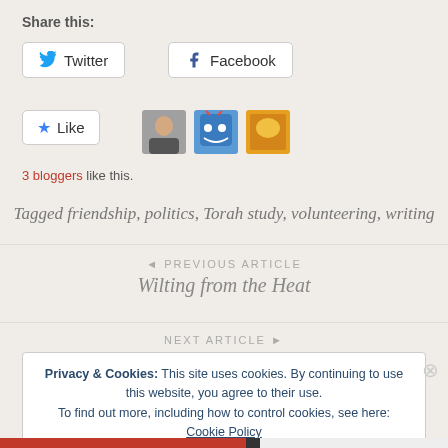Share this:
[Figure (screenshot): Twitter and Facebook share buttons, Like button with 3 blogger avatars]
3 bloggers like this.
Tagged friendship, politics, Torah study, volunteering, writing
◄ PREVIOUS ARTICLE
Wilting from the Heat
NEXT ARTICLE ►
Privacy & Cookies: This site uses cookies. By continuing to use this website, you agree to their use. To find out more, including how to control cookies, see here: Cookie Policy
Close and accept